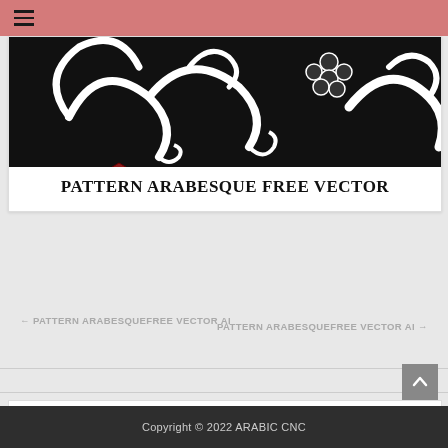≡ (hamburger menu)
[Figure (illustration): Arabesque black and white decorative pattern with white swirling floral/vine motifs on black background, with a dark red hexagonal emblem on the left side]
PATTERN ARABESQUE FREE VECTOR
← PATTERN ARABESQUEFREE VECTOR AI
PATTERN ARABESQUEFREE VECTOR AI →
Copyright © 2022 ARABIC CNC